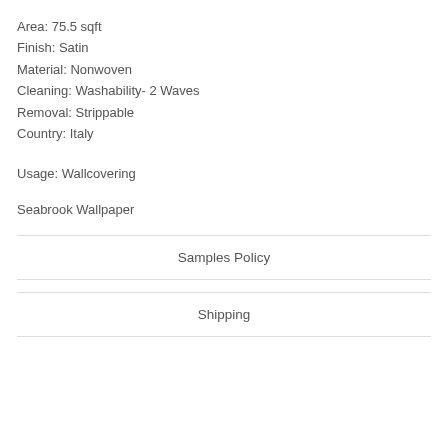Area: 75.5 sqft
Finish: Satin
Material: Nonwoven
Cleaning: Washability- 2 Waves
Removal: Strippable
Country: Italy
Usage: Wallcovering
Seabrook Wallpaper
Samples Policy
Shipping